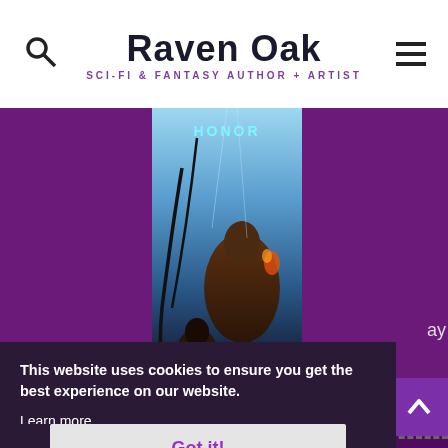Raven Oak — SCI-FI & FANTASY AUTHOR + ARTIST
[Figure (illustration): Book cover partially visible showing a fantasy/sci-fi scene with figures in a stormy blue scene, title 'HONOR' at top in cyan letters]
This website uses cookies to ensure you get the best experience on our website.
Learn more
Got it!
CAPTAIN'S LAST RECENT EPISODE!